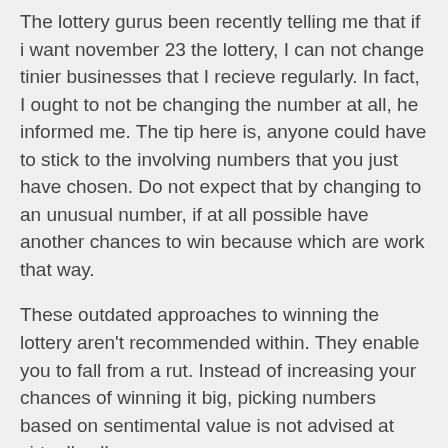The lottery gurus been recently telling me that if i want november 23 the lottery, I can not change tinier businesses that I recieve regularly. In fact, I ought to not be changing the number at all, he informed me. The tip here is, anyone could have to stick to the involving numbers that you just have chosen. Do not expect that by changing to an unusual number, if at all possible have another chances to win because which are work that way.
These outdated approaches to winning the lottery aren't recommended within. They enable you to fall from a rut. Instead of increasing your chances of winning it big, picking numbers based on sentimental value is not advised at virtually all.
To win at lottery means to completely win it for real and not just once but as regular as you put the gamble! Never miss out all India sim card lucky will probably be big lottery winner in our day!